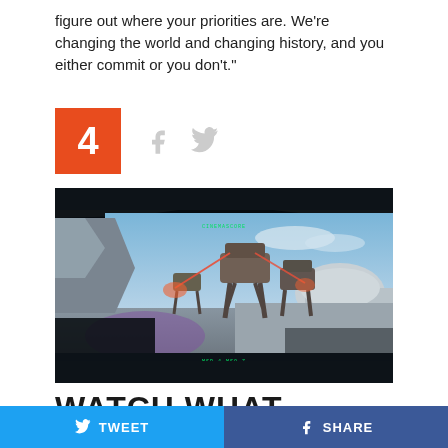figure out where your priorities are. We're changing the world and changing history, and you either commit or you don't."
[Figure (other): Orange number 4 box with Facebook and Twitter share icons]
[Figure (screenshot): Screenshot of a Star Wars scene showing AT-AT walkers in a futuristic city with explosions, as seen from inside a cockpit with green HUD text]
WATCH WHAT
TWEET   SHARE